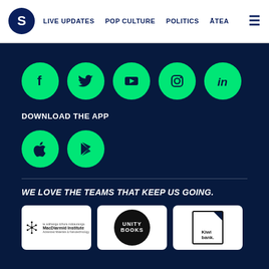S | LIVE UPDATES | POP CULTURE | POLITICS | ĀTEA
[Figure (logo): Row of five green circular social media icons: Facebook, Twitter, YouTube, Instagram, LinkedIn]
DOWNLOAD THE APP
[Figure (logo): Two green circular app store icons: Apple App Store and Google Play Store]
WE LOVE THE TEAMS THAT KEEP US GOING.
[Figure (logo): Three sponsor logos: MacDiarmid Institute, Unity Books, Kiwibank]